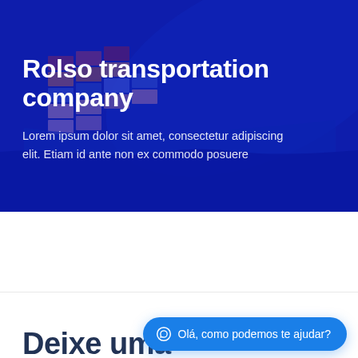[Figure (photo): Aerial view of a large container ship loaded with colorful shipping containers on dark blue ocean water, with blue overlay tint]
Rolso transportation company
Lorem ipsum dolor sit amet, consectetur adipiscing elit. Etiam id ante non ex commodo posuere
Deixe uma
Olá, como podemos te ajudar?